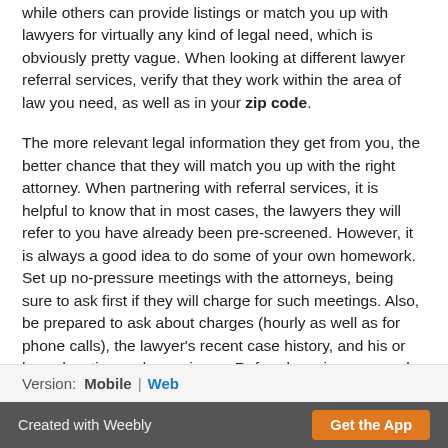while others can provide listings or match you up with lawyers for virtually any kind of legal need, which is obviously pretty vague. When looking at different lawyer referral services, verify that they work within the area of law you need, as well as in your zip code.
The more relevant legal information they get from you, the better chance that they will match you up with the right attorney. When partnering with referral services, it is helpful to know that in most cases, the lawyers they will refer to you have already been pre-screened. However, it is always a good idea to do some of your own homework. Set up no-pressure meetings with the attorneys, being sure to ask first if they will charge for such meetings. Also, be prepared to ask about charges (hourly as well as for phone calls), the lawyer's recent case history, and his or her education and experience. Referral services can make finding the right attorney simple, safe and practical.
Version: Mobile | Web
Created with Weebly   Get the App